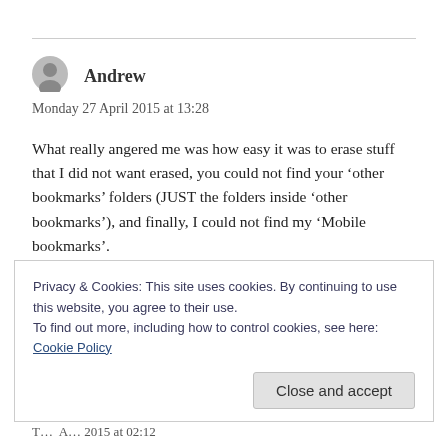[Figure (illustration): Gray circular avatar icon for user Andrew]
Andrew
Monday 27 April 2015 at 13:28
What really angered me was how easy it was to erase stuff that I did not want erased, you could not find your ‘other bookmarks’ folders (JUST the folders inside ‘other bookmarks’), and finally, I could not find my ‘Mobile bookmarks’.
Horrible to say the least. I will use your quick fix for
Privacy & Cookies: This site uses cookies. By continuing to use this website, you agree to their use.
To find out more, including how to control cookies, see here: Cookie Policy
Close and accept